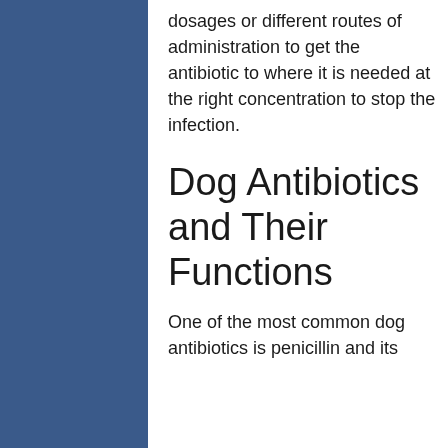dosages or different routes of administration to get the antibiotic to where it is needed at the right concentration to stop the infection.
Dog Antibiotics and Their Functions
One of the most common dog antibiotics is penicillin and its